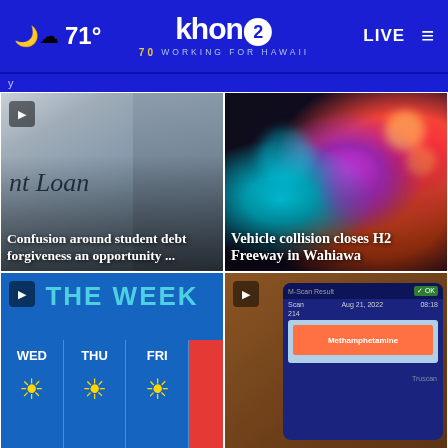71° | khon2 WORKING FOR HAWAII | LIVE
[Figure (screenshot): Partial breaking news bar]
[Figure (photo): Student loan document with calculator — headline: Confusion around student debt forgiveness an opportunity ...]
[Figure (photo): Blurred police lights — headline: Vehicle collision closes H2 Freeway in Wahiawa]
[Figure (screenshot): The Week weather forecast showing WED, THU, FRI columns with sun icons]
[Figure (photo): Drug scanner device showing Methamphetamine result]